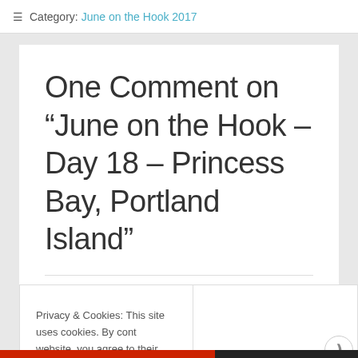≡ Category: June on the Hook 2017
One Comment on “June on the Hook – Day 18 – Princess Bay, Portland Island”
Privacy & Cookies: This site uses cookies. By continuing to use this website, you agree to their use.
To find out more, including how to control cookies, see here:
Close and accept